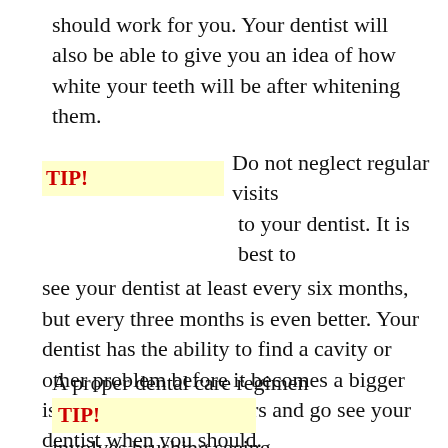should work for you. Your dentist will also be able to give you an idea of how white your teeth will be after whitening them.
TIP! Do not neglect regular visits to your dentist. It is best to see your dentist at least every six months, but every three months is even better. Your dentist has the ability to find a cavity or other problem before it becomes a bigger issue, so take a few hours and go see your dentist when you should.
A proper dental care regimen TIP! involves brushing seeing, flossing and well the dentist at least twice yearly.